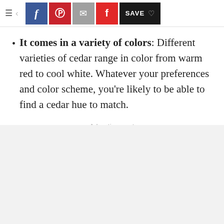≡ < [Facebook] [Pinterest] [Email] [Flipboard] SAVE ♡
It comes in a variety of colors: Different varieties of cedar range in color from warm red to cool white. Whatever your preferences and color scheme, you're likely to be able to find a cedar hue to match.
Advertisement